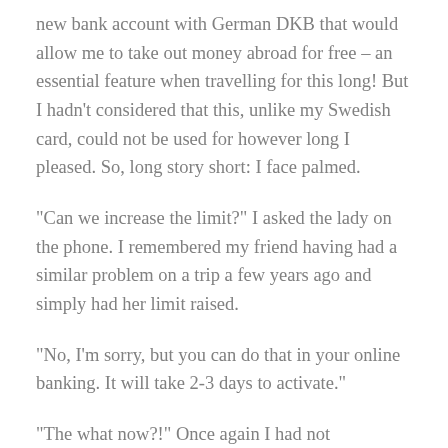new bank account with German DKB that would allow me to take out money abroad for free – an essential feature when travelling for this long! But I hadn't considered that this, unlike my Swedish card, could not be used for however long I pleased. So, long story short: I face palmed.
“Can we increase the limit?” I asked the lady on the phone. I remembered my friend having had a similar problem on a trip a few years ago and simply had her limit raised.
“No, I’m sorry, but you can do that in your online banking. It will take 2-3 days to activate.”
“The what now?!” Once again I had not anticipated her answer. I can’t stay at the airport for three days! was the